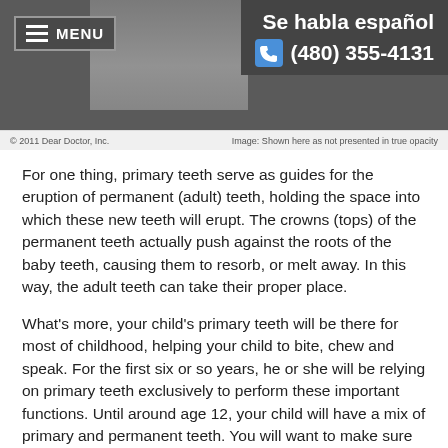MENU | Se habla español | (480) 355-4131
[Figure (screenshot): Website header with dental diagram image, menu button, Spanish language note, and phone number]
© 2011 Dear Doctor, Inc. | Image: Shown here as not presented in true opacity
For one thing, primary teeth serve as guides for the eruption of permanent (adult) teeth, holding the space into which these new teeth will erupt. The crowns (tops) of the permanent teeth actually push against the roots of the baby teeth, causing them to resorb, or melt away. In this way, the adult teeth can take their proper place.
What's more, your child's primary teeth will be there for most of childhood, helping your child to bite, chew and speak. For the first six or so years, he or she will be relying on primary teeth exclusively to perform these important functions. Until around age 12, your child will have a mix of primary and permanent teeth. You will want to make sure those teeth stay healthy and are lost naturally — when it's time.
Your Child's First Teeth